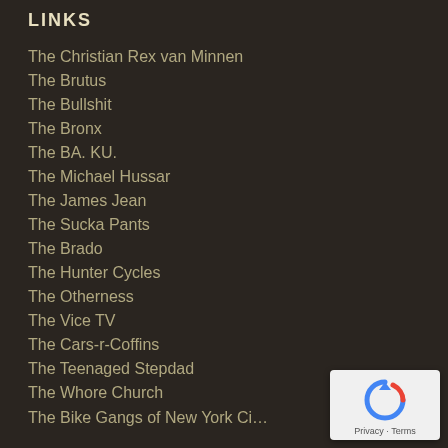LINKS
The Christian Rex van Minnen
The Brutus
The Bullshit
The Bronx
The BA. KU.
The Michael Hussar
The James Jean
The Sucka Pants
The Brado
The Hunter Cycles
The Otherness
The Vice TV
The Cars-r-Coffins
The Teenaged Stepdad
The Whore Church
The Bike Gangs of New York City